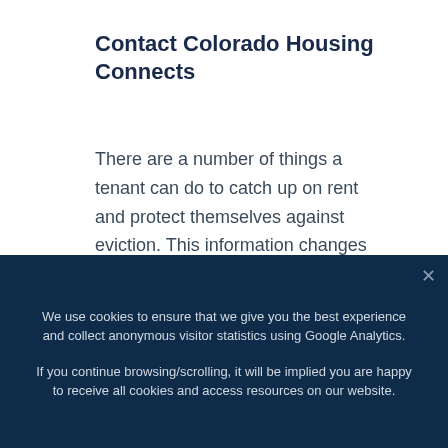Contact Colorado Housing Connects
There are a number of things a tenant can do to catch up on rent and protect themselves against eviction. This information changes regularly so one of the best things you can
We use cookies to ensure that we give you the best experience and collect anonymous visitor statistics using Google Analytics.
If you continue browsing/scrolling, it will be implied you are happy to receive all cookies and access resources on our website.